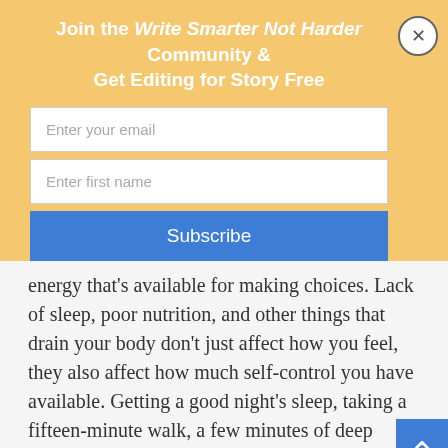Join the Write Smarter Not Harder Community & Get Editing for Story Free
energy that's available for making choices. Lack of sleep, poor nutrition, and other things that drain your body don't just affect how you feel, they also affect how much self-control you have available. Getting a good night's sleep, taking a fifteen-minute walk, a few minutes of deep breathing, eating a healthy meal: these are just a few of the small steps you can take to increase your physical vitality, and at the same time, your